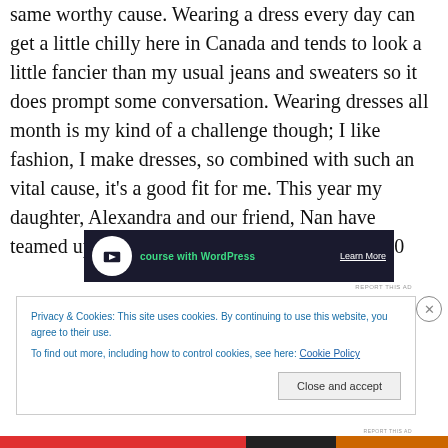same worthy cause. Wearing a dress every day can get a little chilly here in Canada and tends to look a little fancier than my usual jeans and sweaters so it does prompt some conversation. Wearing dresses all month is my kind of a challenge though; I like fashion, I make dresses, so combined with such an vital cause, it's a good fit for me. This year my daughter, Alexandra and our friend, Nan have teamed up with me and our goal is to raise $2500
[Figure (screenshot): Dark advertisement banner for a WordPress course with green text 'course with WordPress' and white 'Learn More' link]
REPORT THIS AD
Privacy & Cookies: This site uses cookies. By continuing to use this website, you agree to their use.
To find out more, including how to control cookies, see here: Cookie Policy
Close and accept